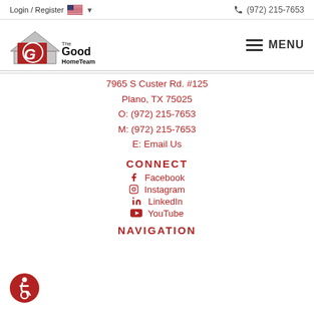Login / Register  (972) 215-7653
[Figure (logo): The Good HomeTeam logo with house icon and company name]
7965 S Custer Rd. #125
Plano, TX 75025
O: (972) 215-7653
M: (972) 215-7653
E: Email Us
CONNECT
Facebook
Instagram
LinkedIn
YouTube
NAVIGATION